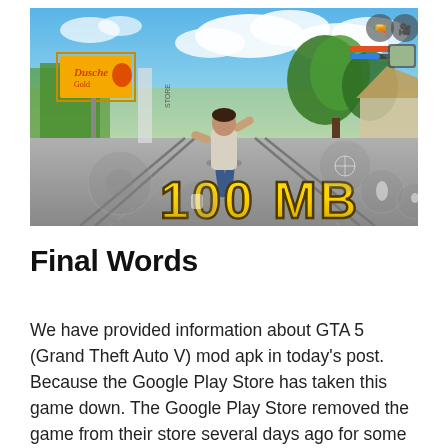[Figure (screenshot): Screenshot of a GTA 5 mobile game showing a character running on a road with '100 MB' text overlay in large yellow letters, mobile game UI controls visible, billboard for 'Dusche Gold' in background, sunny street scene.]
Final Words
We have provided information about GTA 5 (Grand Theft Auto V) mod apk in today's post. Because the Google Play Store has taken this game down. The Google Play Store removed the game from their store several days ago for some reason, and since they were present on that store a